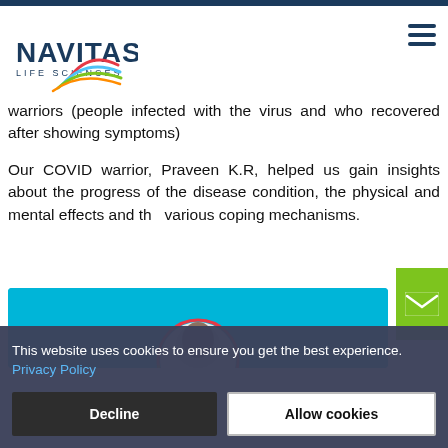[Figure (logo): Navitas Life Sciences logo with colorful swoosh design]
warriors (people infected with the virus and who recovered after showing symptoms)
Our COVID warrior, Praveen K.R, helped us gain insights about the progress of the disease condition, the physical and mental effects and the various coping mechanisms.
[Figure (photo): Person portrait photo with cyan/blue background]
This website uses cookies to ensure you get the best experience. Privacy Policy
Decline
Allow cookies